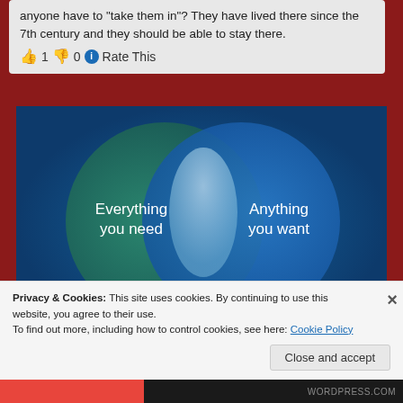anyone have to "take them in"? They have lived there since the 7th century and they should be able to stay there.
👍 1 👎 0 ℹ Rate This
[Figure (infographic): Venn diagram with two overlapping circles on a dark blue background. Left circle is teal/green labeled 'Everything you need'. Right circle is blue labeled 'Anything you want'. The overlapping intersection area is light blue/white. At the bottom of the image there is a pink/magenta button partially visible on the left and a WordPress-style logo on the right.]
Privacy & Cookies: This site uses cookies. By continuing to use this website, you agree to their use.
To find out more, including how to control cookies, see here: Cookie Policy
Close and accept